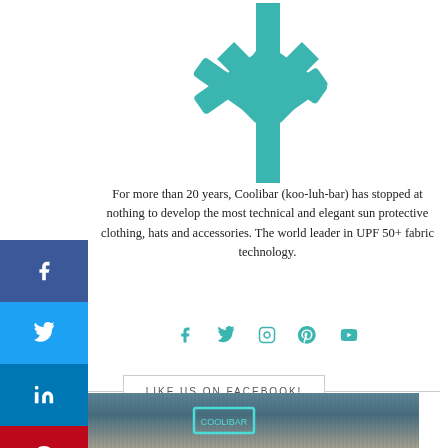[Figure (logo): Coolibar teal snowflake/tree branch logo]
For more than 20 years, Coolibar (koo-luh-bar) has stopped at nothing to develop the most technical and elegant sun protective clothing, hats and accessories. The world leader in UPF 50+ fabric technology.
[Figure (infographic): Social media icons row: Facebook, Twitter, Instagram, Pinterest, YouTube in teal color]
[Figure (infographic): LIKE US ON FACEBOOK! button with horizontal dividers]
[Figure (photo): Partial photo strip at bottom of page]